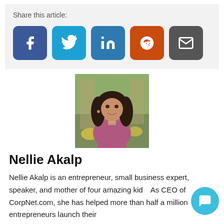Share this article:
[Figure (infographic): Social share buttons: Facebook (blue), Twitter (cyan), LinkedIn (blue), Reddit (orange), Email (dark gray)]
[Figure (photo): Portrait photo of Nellie Akalp, a woman with long dark hair, smiling, wearing a floral top]
Nellie Akalp
Nellie Akalp is an entrepreneur, small business expert, speaker, and mother of four amazing kids. As CEO of CorpNet.com, she has helped more than half a million entrepreneurs launch their